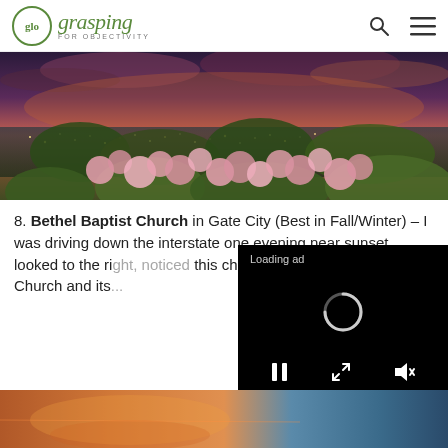glo grasping FOR OBJECTIVITY
[Figure (photo): Panoramic photo of pink roses/flowers in foreground with city lights and dramatic purple-pink sunset sky in background]
8. Bethel Baptist Church in Gate City (Best in Fall/Winter) – I was driving down the interstate one evening near sunset, looked to the right, noticed this church, and... exit and kept d... Church and its...
[Figure (screenshot): Video ad overlay: black rectangle with 'Loading ad' text, spinning loading indicator, and playback controls (pause, resize, mute)]
[Figure (photo): Partial bottom strip showing a sunset/landscape photo]